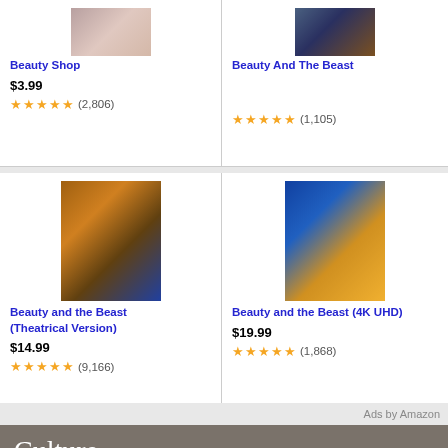[Figure (photo): Beauty Shop movie cover thumbnail - top portion visible]
Beauty Shop
$3.99
★★★★★ (2,806)
[Figure (photo): Beauty And The Beast movie cover thumbnail - top portion visible]
Beauty And The Beast
★★★★½ (1,105)
[Figure (photo): Beauty and the Beast (2017) theatrical version movie poster - live action]
Beauty and the Beast (Theatrical Version)
$14.99
★★★★½ (9,166)
[Figure (photo): Beauty and the Beast 4K UHD animated version movie cover]
Beauty and the Beast (4K UHD)
$19.99
★★★★★ (1,868)
Ads by Amazon
Culture